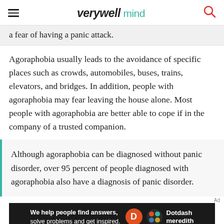verywellmind
a fear of having a panic attack.
Agoraphobia usually leads to the avoidance of specific places such as crowds, automobiles, buses, trains, elevators, and bridges. In addition, people with agoraphobia may fear leaving the house alone. Most people with agoraphobia are better able to cope if in the company of a trusted companion.
Although agoraphobia can be diagnosed without panic disorder, over 95 percent of people diagnosed with agoraphobia also have a diagnosis of panic disorder.
[Figure (other): Dotdash Meredith advertisement banner: 'We help people find answers, solve problems and get inspired.']